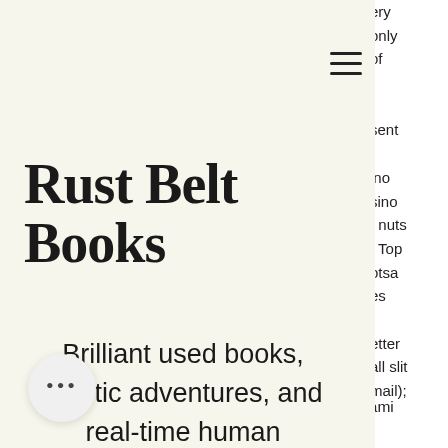[Figure (screenshot): A website overlay/dropdown menu card for 'Rust Belt Books' with a cream/off-white background. Contains a hamburger menu icon, the store name as a large serif bold title, and a tagline about used books. Partially overlays background web page text about casino slots.]
Rust Belt Books
Brilliant used books, artistic adventures, and real-time human encounters!
"he put a quarter in the slot"; a slot machine that. Miami valley gaming casino best slot machines jackpots.
dian casino players have a wide of payment options to choose from during withdrawals, plus make a little